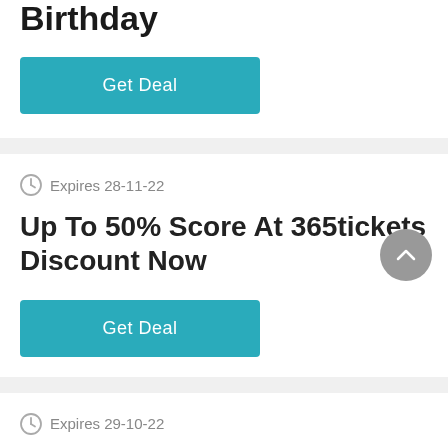Birthday
Get Deal
Expires 28-11-22
Up To 50% Score At 365tickets Discount Now
Get Deal
Expires 29-10-22